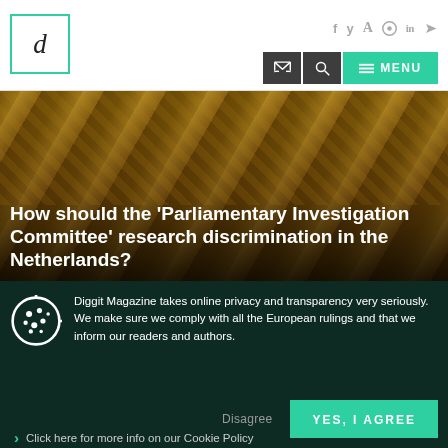Diggit Magazine – logo and navigation header with social icons and menu
[Figure (photo): Ornate golden-ceiling parliamentary or opera hall interior, used as hero image background]
How should the 'Parliamentary Investigation Committee' research discrimination in the Netherlands?
Diggit Magazine takes online privacy and transparency very seriously. We make sure we comply with all the European rulings and that we inform our readers and authors.
Click here for more info on our Cookie Policy
Disagree   YES, I AGREE